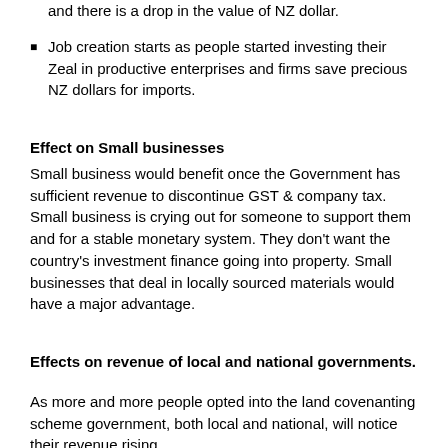and there is a drop in the value of NZ dollar.
Job creation starts as people started investing their Zeal in productive enterprises and firms save precious NZ dollars for imports.
Effect on Small businesses
Small business would benefit once the Government has sufficient revenue to discontinue GST & company tax. Small business is crying out for someone to support them and for a stable monetary system. They don't want the country's investment finance going into property. Small businesses that deal in locally sourced materials would have a major advantage.
Effects on revenue of local and national governments.
As more and more people opted into the land covenanting scheme government, both local and national, will notice their revenue rising.
The process of issuing a Citizens' Dividend would most easily be done through the Inland Revenue Department